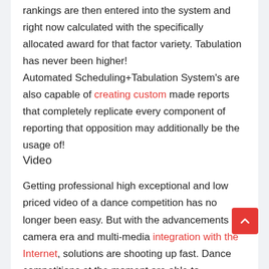rankings are then entered into the system and right now calculated with the specifically allocated award for that factor variety. Tabulation has never been higher!
Automated Scheduling+Tabulation System's are also capable of creating custom made reports that completely replicate every component of reporting that opposition may additionally be the usage of!
Video
Getting professional high exceptional and low priced video of a dance competition has no longer been easy. But with the advancements in camera era and multi-media integration with the Internet, solutions are shooting up fast. Dance competitions at the moment are able to